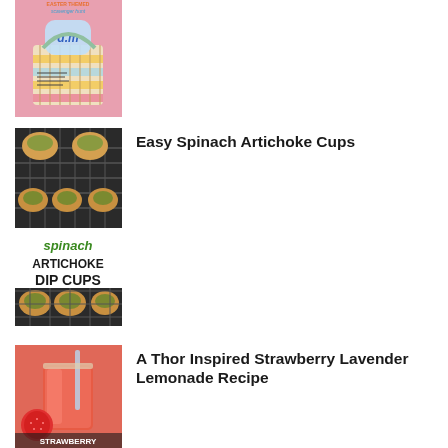[Figure (photo): Easter themed scavenger hunt image with colorful Easter basket on pink background]
[Figure (photo): Spinach Artichoke Dip Cups on a cooling rack, text overlay reading 'spinach ARTICHOKE DIP CUPS']
Easy Spinach Artichoke Cups
[Figure (photo): Strawberry lemonade drink in a glass with strawberries, text overlay 'STRAWBERRY']
A Thor Inspired Strawberry Lavender Lemonade Recipe